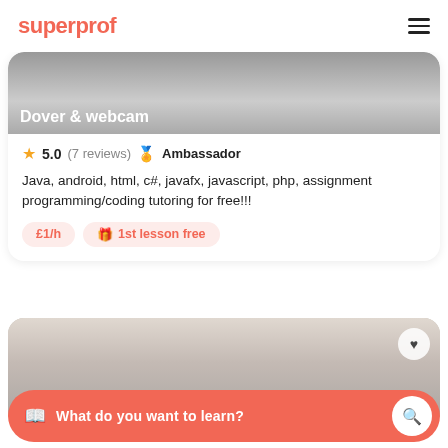superprof
[Figure (photo): Profile photo of tutor, cropped showing upper body. Label: Dover & webcam]
5.0 (7 reviews) Ambassador
Java, android, html, c#, javafx, javascript, php, assignment programming/coding tutoring for free!!!
£1/h  1st lesson free
[Figure (photo): Profile photo of female tutor, blonde, cropped showing face/forehead area, with heart/favourite button in top right]
What do you want to learn?